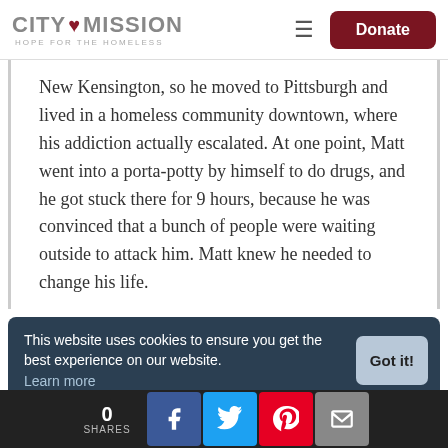CITY MISSION HOPE FOR THE HOMELESS | Donate
New Kensington, so he moved to Pittsburgh and lived in a homeless community downtown, where his addiction actually escalated.  At one point, Matt went into a porta-potty by himself to do drugs, and he got stuck there for 9 hours, because he was convinced that a bunch of people were waiting outside to attack him.  Matt knew he needed to change his life.
This website uses cookies to ensure you get the best experience on our website. Learn more
0 SHARES